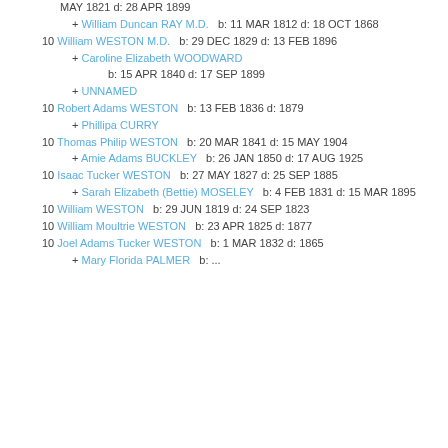MAY 1821 d: 28 APR 1899
+ William Duncan RAY M.D.   b: 11 MAR 1812 d: 18 OCT 1868
10 William WESTON M.D.   b: 29 DEC 1829 d: 13 FEB 1896
+ Caroline Elizabeth WOODWARD   b: 15 APR 1840 d: 17 SEP 1899
+ UNNAMED
10 Robert Adams WESTON   b: 13 FEB 1836 d: 1879
+ Phillipa CURRY
10 Thomas Philip WESTON   b: 20 MAR 1841 d: 15 MAY 1904
+ Amie Adams BUCKLEY   b: 26 JAN 1850 d: 17 AUG 1925
10 Isaac Tucker WESTON   b: 27 MAY 1827 d: 25 SEP 1885
+ Sarah Elizabeth (Bettie) MOSELEY   b: 4 FEB 1831 d: 15 MAR 1895
10 William WESTON   b: 29 JUN 1819 d: 24 SEP 1823
10 William Moultrie WESTON   b: 23 APR 1825 d: 1877
10 Joel Adams Tucker WESTON   b: 1 MAR 1832 d: 1865
+ Mary Florida PALMER   b: ...